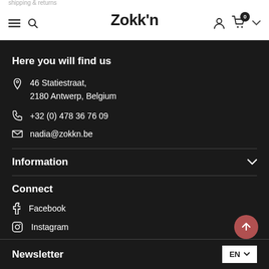shipping & returns — Zokk'n — [account] [cart 0]
Here you will find us
46 Statiestraat,
2180 Antwerp, Belgium
+32 (0) 478 36 76 09
nadia@zokkn.be
Information
Connect
Facebook
Instagram
Newsletter